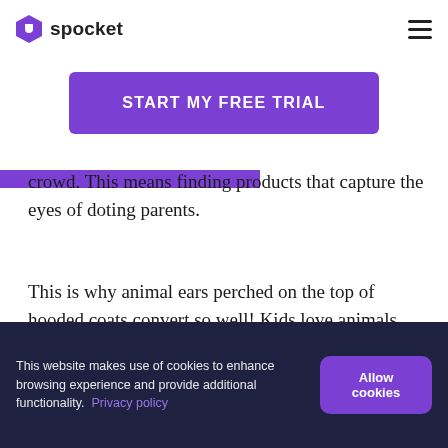spocket
START MY FREE TRIAL
crowd. This means finding products that capture the eyes of doting parents.
This is why animal ears perched on the top of hooded coats convert so well! Kids love animals, and garments like this allow them to revel in that.
This website makes use of cookies to enhance browsing experience and provide additional functionality.  Privacy policy